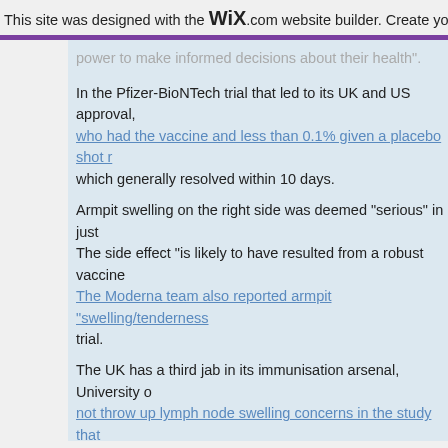This site was designed with the WIX.com website builder. Create yo
power to make informed decisions about their health".
In the Pfizer-BioNTech trial that led to its UK and US approval, who had the vaccine and less than 0.1% given a placebo shot r which generally resolved within 10 days. Armpit swelling on the right side was deemed "serious" in just The side effect "is likely to have resulted from a robust vaccine The Moderna team also reported armpit "swelling/tenderness trial. The UK has a third jab in its immunisation arsenal, University o not throw up lymph node swelling concerns in the study that
"As with all medicines, the COVID-19 [the disease caused by th side effects," Addie Mitchell, a clinical nurse specialist at Breast "While some common side effects are nausea, fatigue and hea uncommon side effects of the vaccine is enlarged lymph node will usually go within two weeks. "In the UK, no guidance has been issued about needing to del node swelling as a result of the COVID-19 vaccine and so we e appointments when invited. "We want to reassure women that in an X-ray, radiologists can